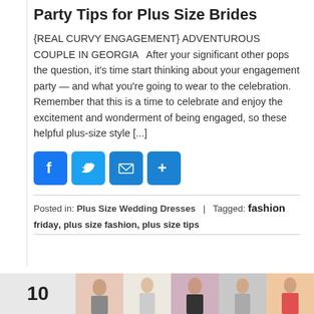Party Tips for Plus Size Brides
{REAL CURVY ENGAGEMENT} ADVENTUROUS COUPLE IN GEORGIA   After your significant other pops the question, it’s time start thinking about your engagement party — and what you’re going to wear to the celebration. Remember that this is a time to celebrate and enjoy the excitement and wonderment of being engaged, so these helpful plus-size style [...]
[Figure (infographic): Four social sharing buttons: Facebook (blue), Twitter (light blue), Email (blue), More/Share (blue)]
Posted in: Plus Size Wedding Dresses  |  Tagged: fashion friday, plus size fashion, plus size tips
[Figure (infographic): Pagination strip at bottom: page number box showing 10 followed by five thumbnail images of plus-size women in various outfits]